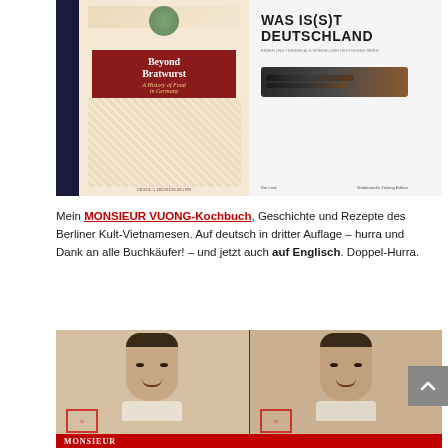[Figure (photo): Two books side by side on a decorative surface. Left book: 'Beyond Bratwurst: A History of Food in Germany' by Ursula Heinzelmann, with a red band and decorative cover. Right book: 'Was Is(s)t Deutschland' (white cover with kitchen knives), Der Tord, Süddeutsche Zeitung Edition.]
Mein MONSIEUR VUONG-Kochbuch, Geschichte und Rezepte des Berliner Kult-Vietnamesen. Auf deutsch in dritter Auflage – hurra und Dank an alle Buchkäufer! – und jetzt auch auf Englisch. Doppel-Hurra.
[Figure (photo): Two copies of the Monsieur Vuong cookbook side by side showing the cover with a vintage-style portrait of a young Vietnamese man, on a red decorative background. Bottom text partially visible: 'MONSIEUR'.]